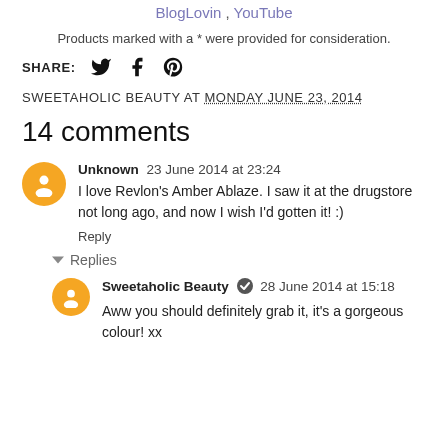BlogLovin , YouTube
Products marked with a * were provided for consideration.
SHARE: [twitter] [facebook] [pinterest]
SWEETAHOLIC BEAUTY AT MONDAY JUNE 23, 2014
14 comments
Unknown  23 June 2014 at 23:24
I love Revlon's Amber Ablaze. I saw it at the drugstore not long ago, and now I wish I'd gotten it! :)
Reply
▾ Replies
Sweetaholic Beauty ✔ 28 June 2014 at 15:18
Aww you should definitely grab it, it's a gorgeous colour! xx